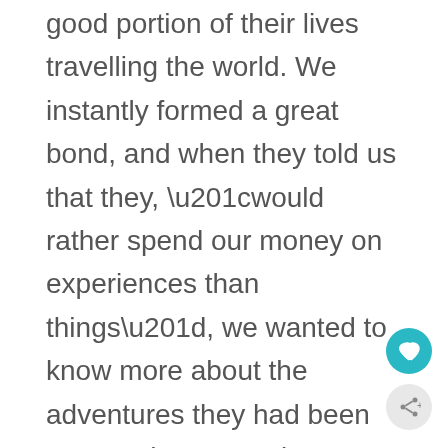good portion of their lives travelling the world. We instantly formed a great bond, and when they told us that they, “would rather spend our money on experiences than things”, we wanted to know more about the adventures they had been on. For the next 21km, we would not stop chatting.
We instantly formed a great bond, and when they told us that they, “would rather spend our money on experiences than things”, we wanted to know more about the adventures they had been on. For the next 21km past